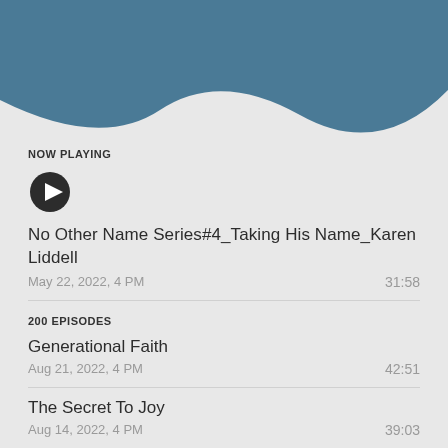[Figure (illustration): Wave-shaped teal/blue decorative header background]
NOW PLAYING
[Figure (illustration): Black circular play button icon]
No Other Name Series#4_Taking His Name_Karen Liddell
May 22, 2022, 4 PM	31:58
200 EPISODES
Generational Faith
Aug 21, 2022, 4 PM	42:51
The Secret To Joy
Aug 14, 2022, 4 PM	39:03